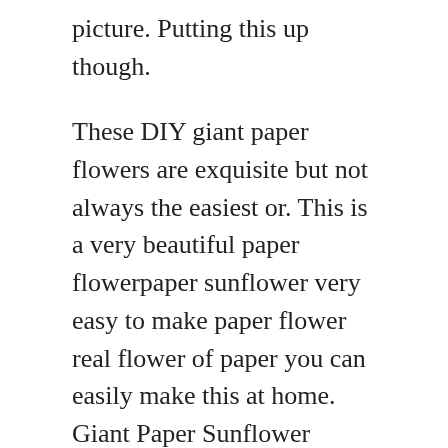picture. Putting this up though.
These DIY giant paper flowers are exquisite but not always the easiest or. This is a very beautiful paper flowerpaper sunflower very easy to make paper flower real flower of paper you can easily make this at home. Giant Paper Sunflower template PDF sunflower petals to print In Sunflower Giant paper flower petal patterns In Flower Petal 13042018 In Flower Petal Previous post Next post Ads.
Sunflower Trees Tulip Cookie Policy Search for. The amount of craft paper you will need